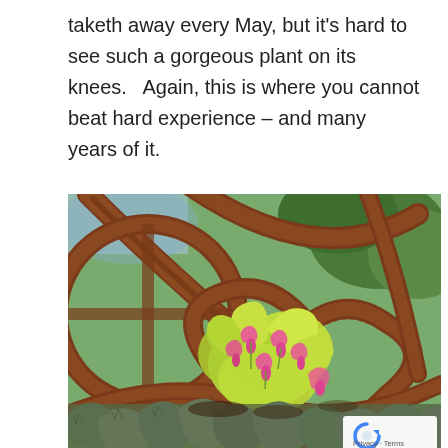taketh away every May, but it's hard to see such a gorgeous plant on its knees.   Again, this is where you cannot beat hard experience – and many years of it.
[Figure (photo): A garden photograph showing bleeding heart plants with pink flowers and yellow-green foliage, surrounded by rusty metal sculptural elements with curved and geometric forms. A reCAPTCHA privacy badge appears in the bottom right corner of the image.]